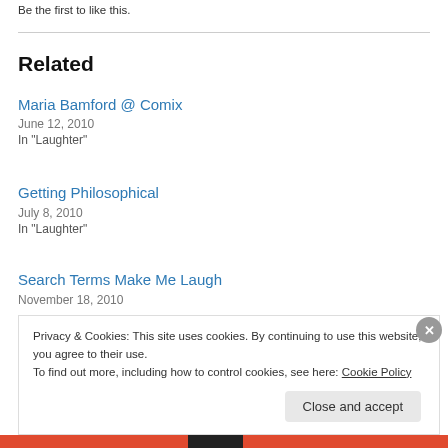Be the first to like this.
Related
Maria Bamford @ Comix
June 12, 2010
In "Laughter"
Getting Philosophical
July 8, 2010
In "Laughter"
Search Terms Make Me Laugh
November 18, 2010
Privacy & Cookies: This site uses cookies. By continuing to use this website, you agree to their use.
To find out more, including how to control cookies, see here: Cookie Policy
Close and accept